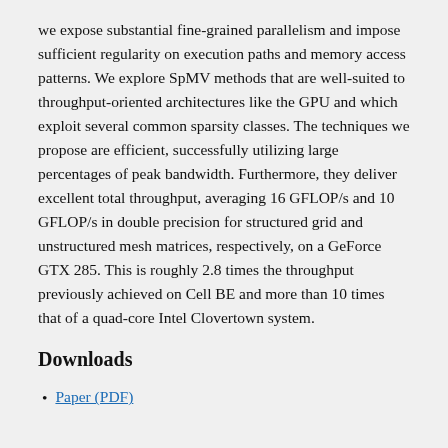we expose substantial fine-grained parallelism and impose sufficient regularity on execution paths and memory access patterns. We explore SpMV methods that are well-suited to throughput-oriented architectures like the GPU and which exploit several common sparsity classes. The techniques we propose are efficient, successfully utilizing large percentages of peak bandwidth. Furthermore, they deliver excellent total throughput, averaging 16 GFLOP/s and 10 GFLOP/s in double precision for structured grid and unstructured mesh matrices, respectively, on a GeForce GTX 285. This is roughly 2.8 times the throughput previously achieved on Cell BE and more than 10 times that of a quad-core Intel Clovertown system.
Downloads
Paper (PDF)